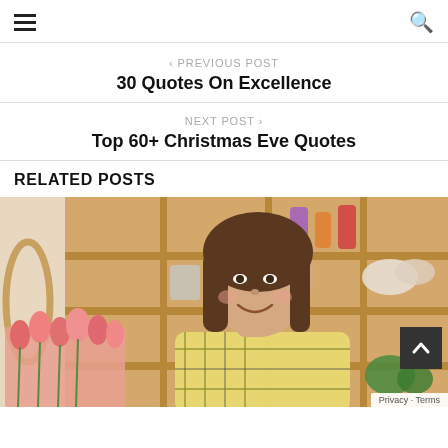≡  [hamburger menu]   [search icon]
‹ PREVIOUS POST
30 Quotes On Excellence
NEXT POST ›
Top 60+ Christmas Eve Quotes
RELATED POSTS
[Figure (photo): Young woman with brown hair smiling, wearing a plaid shirt, standing in a craft/flower shop with shelves of supplies and fresh tulips in the foreground.]